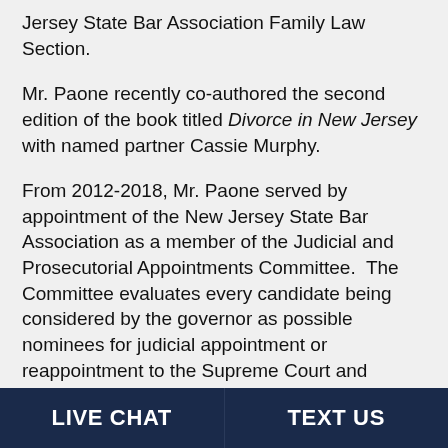Jersey State Bar Association Family Law Section.
Mr. Paone recently co-authored the second edition of the book titled Divorce in New Jersey with named partner Cassie Murphy.
From 2012-2018, Mr. Paone served by appointment of the New Jersey State Bar Association as a member of the Judicial and Prosecutorial Appointments Committee. The Committee evaluates every candidate being considered by the governor as possible nominees for judicial appointment or reappointment to the Supreme Court and Superior Court, and for appointment or reappointment to the position of
LIVE CHAT   TEXT US